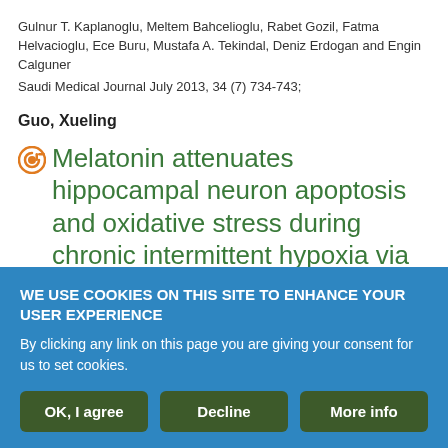Gulnur T. Kaplanoglu, Meltem Bahcelioglu, Rabet Gozil, Fatma Helvacioglu, Ece Buru, Mustafa A. Tekindal, Deniz Erdogan and Engin Calguner
Saudi Medical Journal July 2013, 34 (7) 734-743;
Guo, Xueling
Melatonin attenuates hippocampal neuron apoptosis and oxidative stress during chronic intermittent hypoxia via up-regulating B-cell lymphoma-2 and down-regulating B-cell lymphoma-2-associated X protein
WE USE COOKIES ON THIS SITE TO ENHANCE YOUR USER EXPERIENCE
By clicking any link on this page you are giving your consent for us to set cookies.